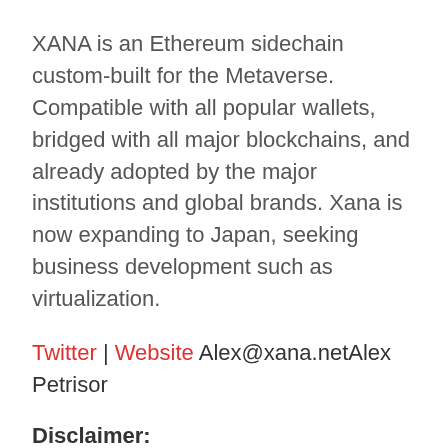XANA is an Ethereum sidechain custom-built for the Metaverse. Compatible with all popular wallets, bridged with all major blockchains, and already adopted by the major institutions and global brands. Xana is now expanding to Japan, seeking business development such as virtualization.
Twitter | Website Alex@xana.netAlex Petrisor
Disclaimer:
The information given in this article is not investment advice for financial...